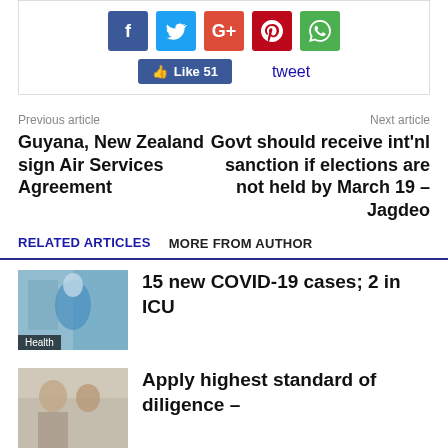[Figure (screenshot): Social media share buttons: Facebook (f), Twitter (bird), Google+ (G+), Pinterest (P), WhatsApp (phone icon). Below: Facebook Like button showing 51 likes, and a tweet link.]
Previous article
Next article
Guyana, New Zealand sign Air Services Agreement
Govt should receive int'nl sanction if elections are not held by March 19 – Jagdeo
RELATED ARTICLES   MORE FROM AUTHOR
[Figure (photo): Health photo showing person in blue medical attire. Badge: Health]
15 new COVID-19 cases; 2 in ICU
[Figure (photo): Photo showing people, partial view]
Apply highest standard of diligence –